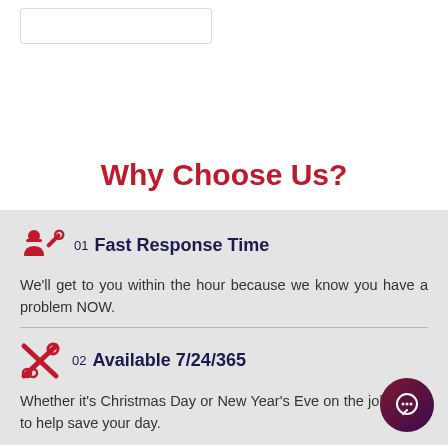Why Choose Us?
01  Fast Response Time
We'll get to you within the hour because we know you have a problem NOW.
02  Available 7/24/365
Whether it's Christmas Day or New Year's Eve on the job ready to help save your day.